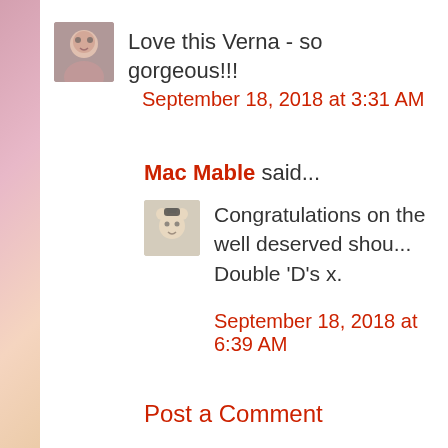Love this Verna - so gorgeous!!!
September 18, 2018 at 3:31 AM
Mac Mable said...
Congratulations on the well deserved shout out from Double 'D's x.
September 18, 2018 at 6:39 AM
Post a Comment
Newer Post
Home
Subscribe to: Post Comments (A